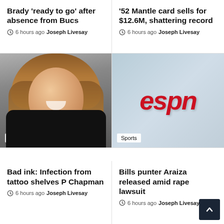Brady 'ready to go' after absence from Bucs
6 hours ago  Joseph Livesay
'52 Mantle card sells for $12.6M, shattering record
6 hours ago  Joseph Livesay
[Figure (photo): Portrait photo of a woman with long auburn hair, smiling, wearing a black top. Sports badge in bottom left corner.]
[Figure (logo): ESPN logo on a light blue-grey gradient background. Sports badge in bottom left corner.]
Bad ink: Infection from tattoo shelves P Chapman
6 hours ago  Joseph Livesay
Bills punter Araiza released amid rape lawsuit
6 hours ago  Joseph Livesay